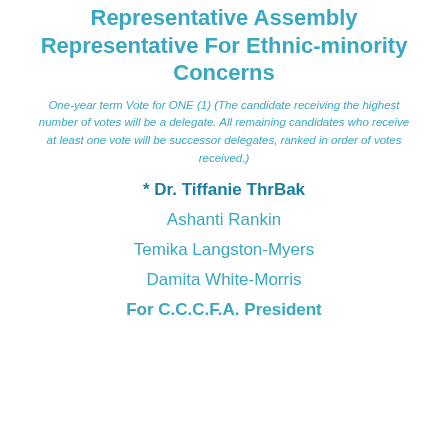Representative Assembly Representative For Ethnic-minority Concerns
One-year term Vote for ONE (1) (The candidate receiving the highest number of votes will be a delegate. All remaining candidates who receive at least one vote will be successor delegates, ranked in order of votes received.)
* Dr. Tiffanie ThrBak
Ashanti Rankin
Temika Langston-Myers
Damita White-Morris
For C.C.C.F.A. President